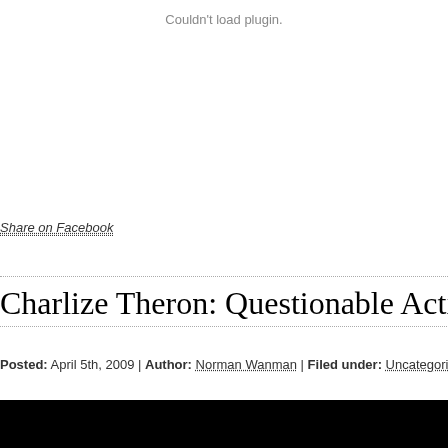Couldn't load plugin.
Share on Facebook
Charlize Theron: Questionable Acting
Posted: April 5th, 2009 | Author: Norman Wanman | Filed under: Uncategorized | 1 Comm...
[Figure (photo): Black area with video player frame at bottom of page, showing beginning of a video thumbnail]